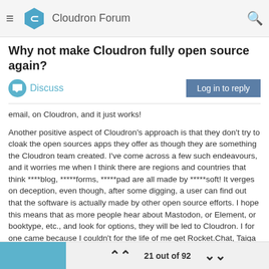Cloudron Forum
Why not make Cloudron fully open source again?
Discuss
email, on Cloudron, and it just works!
Another positive aspect of Cloudron's approach is that they don't try to cloak the open sources apps they offer as though they are something the Cloudron team created. I've come across a few such endeavours, and it worries me when I think there are regions and countries that think ****blog, *****forms, *****pad are all made by *****soft! It verges on deception, even though, after some digging, a user can find out that the software is actually made by other open source efforts. I hope this means that as more people hear about Mastodon, or Element, or booktype, etc., and look for options, they will be led to Cloudron. I for one came because I couldn't for the life of me get Rocket.Chat, Taiga and SOGo all running on the same server, by hand. Not a problem for Cloudron!!
21 out of 92